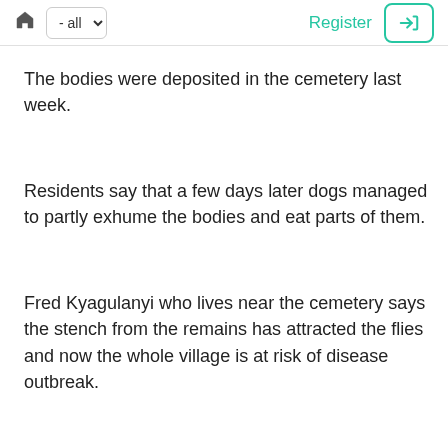home - all Register [login]
The bodies were deposited in the cemetery last week.
Residents say that a few days later dogs managed to partly exhume the bodies and eat parts of them.
Fred Kyagulanyi who lives near the cemetery says the stench from the remains has attracted the flies and now the whole village is at risk of disease outbreak.
Kyagulanyi says he petitioned Nakasongola town clerk Umar Ntogo after the dogs littered his compound with